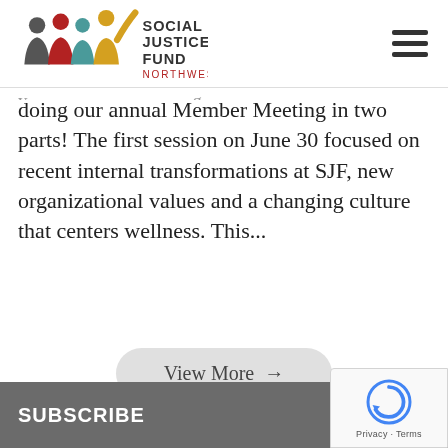[Figure (logo): Social Justice Fund Northwest logo with colored silhouettes and text]
doing our annual Member Meeting in two parts! The first session on June 30 focused on recent internal transformations at SJF, new organizational values and a changing culture that centers wellness. This...
View More →
SUBSCRIBE